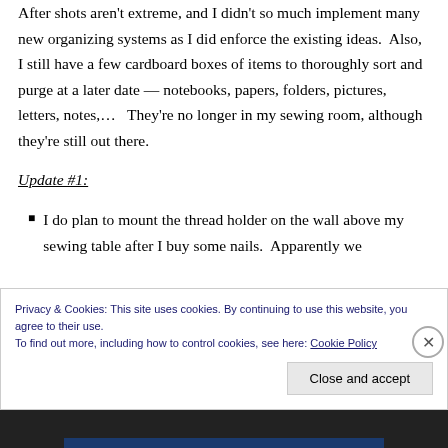After shots aren't extreme, and I didn't so much implement many new organizing systems as I did enforce the existing ideas.  Also, I still have a few cardboard boxes of items to thoroughly sort and purge at a later date — notebooks, papers, folders, pictures, letters, notes,…   They're no longer in my sewing room, although they're still out there.
Update #1:
I do plan to mount the thread holder on the wall above my sewing table after I buy some nails.  Apparently we
Privacy & Cookies: This site uses cookies. By continuing to use this website, you agree to their use.
To find out more, including how to control cookies, see here: Cookie Policy